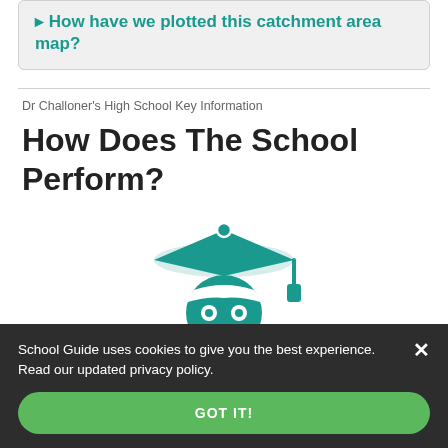How have we plotted this catchment area map?
Dr Challoner's High School Key Information
How Does The School Perform?
[Figure (illustration): Teal/green graduation cap mascot icon with a robot-like face]
School Guide uses cookies to give you the best experience. Read our updated privacy policy.
GOT IT!